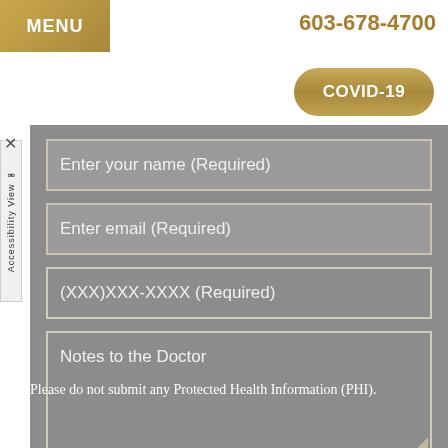MENU
603-678-4700
COVID-19
Enter your name (Required)
Enter email (Required)
(XXX)XXX-XXXX (Required)
Notes to the Doctor
Please do not submit any Protected Health Information (PHI).